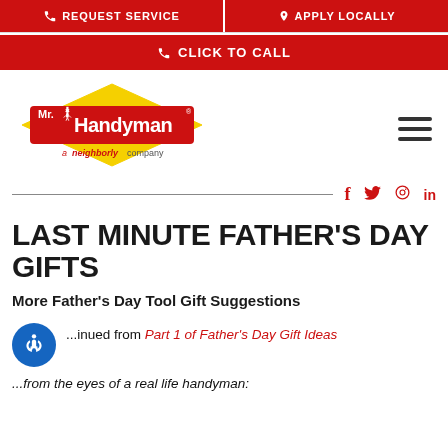REQUEST SERVICE | APPLY LOCALLY
CLICK TO CALL
[Figure (logo): Mr. Handyman logo with diamond shape, red background, man with top hat, yellow border, 'a neighborly company' tagline below]
Social share icons: f (Facebook), Twitter bird, Pinterest, LinkedIn
LAST MINUTE FATHER'S DAY GIFTS
More Father's Day Tool Gift Suggestions
...inued from Part 1 of Father's Day Gift Ideas
...from the eyes of a real life handyman: